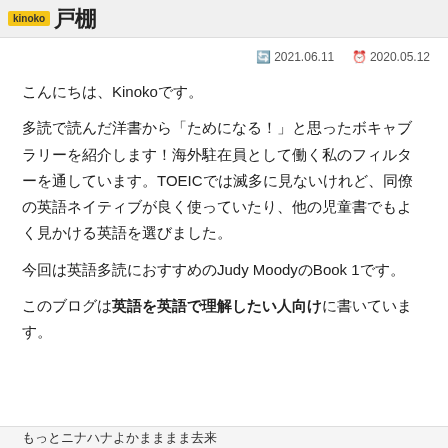戸棚
ᴅ 2021.06.11  ⊙ 2020.05.12
こんにちは、Kinokoです。
多読で読んだ洋書から「ためになる！」と思ったボキャブラリーを紹介します！海外駐在員として働く私のフィルターを通しています。TOEICでは滅多に見ないけれど、同僚の英語ネイティブが良く使っていたり、他の児童書でもよく見かける英語を選びました。
今回は英語多読におすすめのJudy MoodyのBook 1です。
このブログは英語を英語で理解したい人向けに書いています。
もっとことはもよかまままま去来